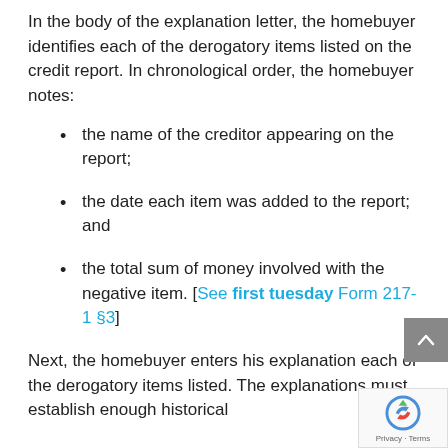In the body of the explanation letter, the homebuyer identifies each of the derogatory items listed on the credit report. In chronological order, the homebuyer notes:
the name of the creditor appearing on the report;
the date each item was added to the report; and
the total sum of money involved with the negative item. [See first tuesday Form 217-1 §3]
Next, the homebuyer enters his explanation each of the derogatory items listed. The explanations must establish enough historical